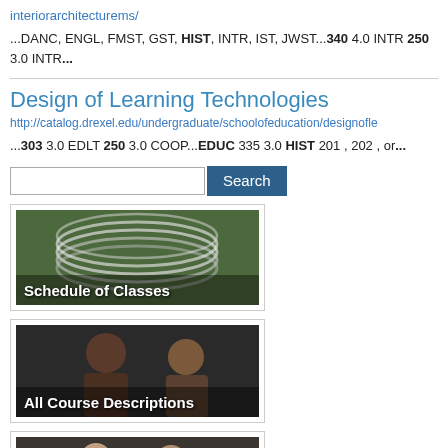interiorarchitecturems/
...DANC, ENGL, FMST, GST, HIST, INTR, IST, JWST...340 4.0 INTR 250 3.0 INTR...
Design of Learning Technologies
http://catalog.drexel.edu/undergraduate/schoolofeducation/designofle
...303 3.0 EDLT 250 3.0 COOP...EDUC 335 3.0 HIST 201 , 202 , or...
[Figure (screenshot): Search bar with Search button]
[Figure (photo): Schedule of Classes banner with sculpture image]
[Figure (photo): All Course Descriptions banner with students image]
[Figure (photo): Partially visible banner with two people]